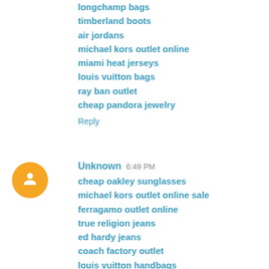longchamp bags
timberland boots
air jordans
michael kors outlet online
miami heat jerseys
louis vuitton bags
ray ban outlet
cheap pandora jewelry
Reply
Unknown  6:49 PM
cheap oakley sunglasses
michael kors outlet online sale
ferragamo outlet online
true religion jeans
ed hardy jeans
coach factory outlet
louis vuitton handbags
toms outlet
adidas yeezy boost 350
true religion